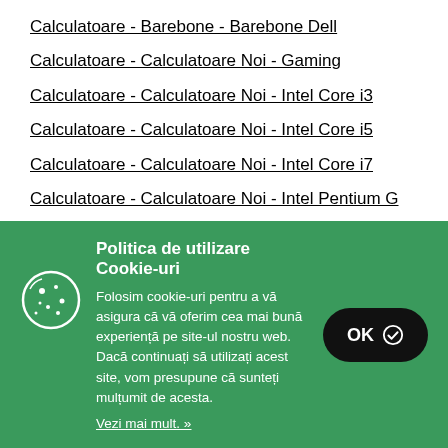Calculatoare - Barebone - Barebone Dell
Calculatoare - Calculatoare Noi - Gaming
Calculatoare - Calculatoare Noi - Intel Core i3
Calculatoare - Calculatoare Noi - Intel Core i5
Calculatoare - Calculatoare Noi - Intel Core i7
Calculatoare - Calculatoare Noi - Intel Pentium G
Calculatoare - Calculatoare Refurbished -
Politica de utilizare Cookie-uri
Folosim cookie-uri pentru a vă asigura că vă oferim cea mai bună experiență pe site-ul nostru web. Dacă continuați să utilizați acest site, vom presupune că sunteți mulțumit de acesta.
Vezi mai mult. »